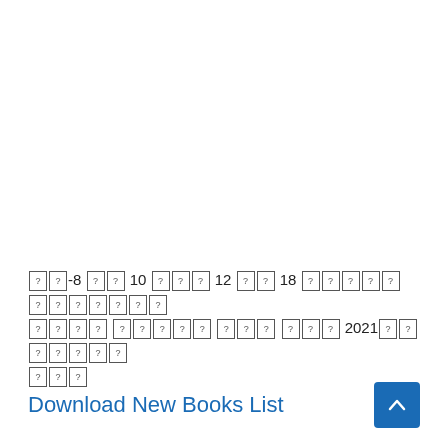[tofu characters]-8 [tofu] 10 [tofu][tofu] 12 [tofu] 18 [tofu x10] [tofu x4] [tofu x5] [tofu x3] [tofu x3] 2021[tofu] [tofu x5] [tofu x3]
Download New Books List